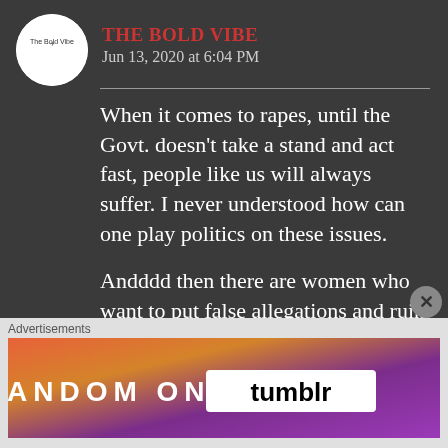THE BOLD VIBE says: Reply
Jun 13, 2020 at 6:04 PM
When it comes to rapes, until the Govt. doesn't take a stand and act fast, people like us will always suffer. I never understood how can one play politics on these issues.

Andddd then there are women who want to put false allegations and ruin a man's life forever. I hate that! These women are much more
Advertisements
[Figure (infographic): FANDOM ON tumblr advertisement banner with colorful gradient background]